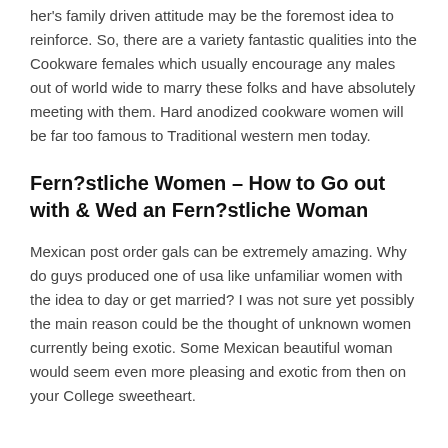her's family driven attitude may be the foremost idea to reinforce. So, there are a variety fantastic qualities into the Cookware females which usually encourage any males out of world wide to marry these folks and have absolutely meeting with them. Hard anodized cookware women will be far too famous to Traditional western men today.
Fern?stliche Women – How to Go out with & Wed an Fern?stliche Woman
Mexican post order gals can be extremely amazing. Why do guys produced one of usa like unfamiliar women with the idea to day or get married? I was not sure yet possibly the main reason could be the thought of unknown women currently being exotic. Some Mexican beautiful woman would seem even more pleasing and exotic from then on your College sweetheart.